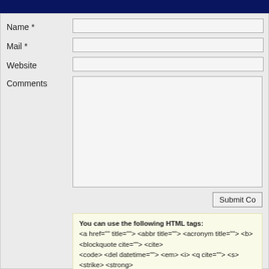[Figure (screenshot): Top dark navy blue navigation bar at the top of the page]
Name *
Mail *
Website
Comments
Submit Co
You can use the following HTML tags:
<a href="" title=""> <abbr title=""> <acronym title=""> <b> <blockquote cite=""> <cite> <code> <del datetime=""> <em> <i> <q cite=""> <s> <strike> <strong>